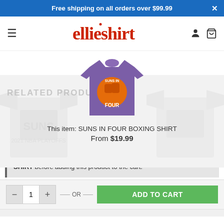Free shipping on all orders over $99.99
[Figure (logo): ellieshirt logo in red decorative font]
[Figure (photo): Purple t-shirt with 'SUNS IN FOUR' boxing graphic]
RELATED PRODUCTS
This item: SUNS IN FOUR BOXING SHIRT
From $19.99
Please select a purchasable variation for SUNS IN FOUR BOXING SHIRT before adding this product to the cart.
- 1 + OR ADD TO CART